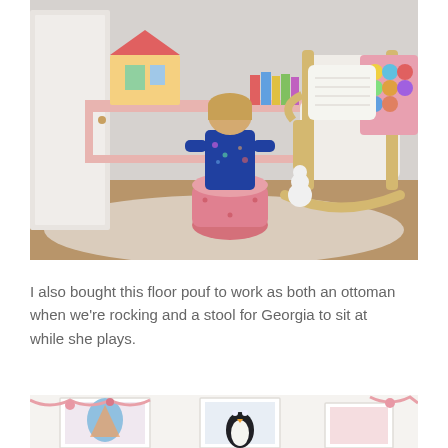[Figure (photo): A young child with blonde hair sits on a pink tufted floor pouf stool with her back to the camera, playing with a dollhouse on a pink shelf. To the right is a wooden rocking chair with a white cushion, a crocheted colorful blanket draped over it, and a white textured pillow. Toys are visible on the floor. The room has hardwood floors and a light-colored rug.]
I also bought this floor pouf to work as both an ottoman when we're rocking and a stool for Georgia to sit at while she plays.
[Figure (photo): A partial view of a child's room wall with framed colorful artwork including what appears to be animals (a penguin and other illustrations), with a pink felt garland visible.]